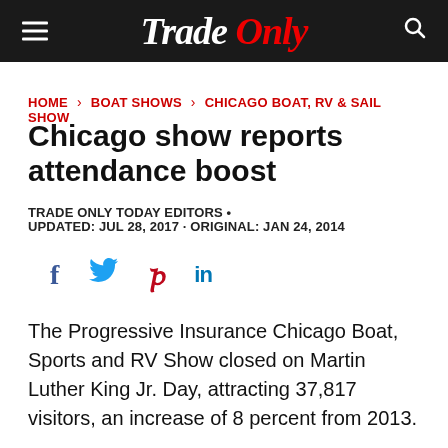Trade Only
HOME › BOAT SHOWS › CHICAGO BOAT, RV & SAIL SHOW
Chicago show reports attendance boost
TRADE ONLY TODAY EDITORS •
UPDATED: JUL 28, 2017 · ORIGINAL: JAN 24, 2014
[Figure (other): Social media sharing icons: Facebook, Twitter, Pinterest, LinkedIn]
The Progressive Insurance Chicago Boat, Sports and RV Show closed on Martin Luther King Jr. Day, attracting 37,817 visitors, an increase of 8 percent from 2013.